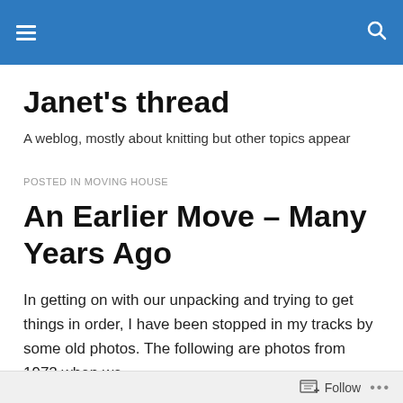Janet's thread [navigation bar with hamburger menu and search icon]
Janet's thread
A weblog, mostly about knitting but other topics appear
POSTED IN MOVING HOUSE
An Earlier Move – Many Years Ago
In getting on with our unpacking and trying to get things in order, I have been stopped in my tracks by some old photos.  The following are photos from 1972 when we
Follow •••